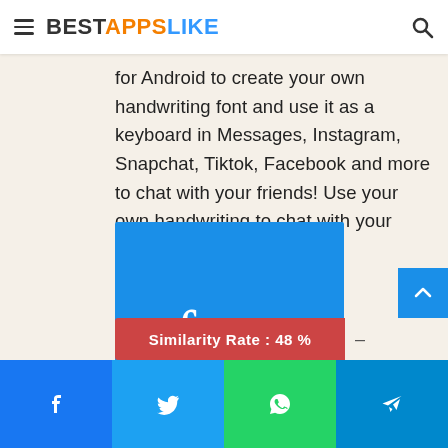BESTAPPSLIKE
for Android to create your own handwriting font and use it as a keyboard in Messages, Instagram, Snapchat, Tiktok, Facebook and more to chat with your friends! Use your own handwriting to chat with your friends to make it look
[Figure (screenshot): Blue square app icon with the word 'font' written in white handwriting-style text]
Similarity Rate : 48 % –